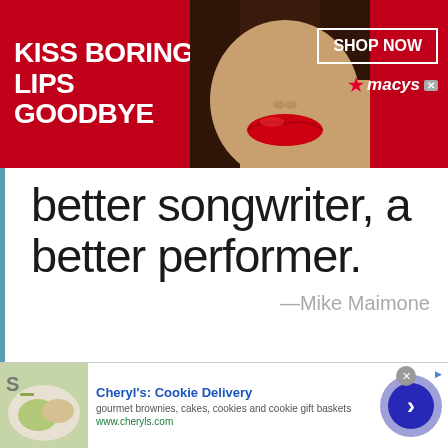[Figure (photo): Macy's advertisement banner with red background, woman's lips with red lipstick, text 'KISS BORING LIPS GOODBYE', 'SHOP NOW' button, and Macy's star logo]
better songwriter, a better performer.
—Mike Maimone
We use cookies.
Yes, we use cookies to ensure we give you the best experience using this website. By closing this box or clicking on the continue button, you agree to our terms of use and consent to the use of
[Figure (photo): Cheryl's Cookie Delivery advertisement with food image, title in blue, description text and URL]
Cheryl's: Cookie Delivery
gourmet brownies, cakes, cookies and cookie gift baskets
www.cheryls.com